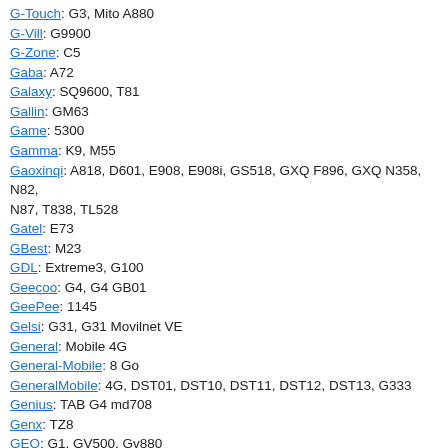G-Touch: G3, Mito A880
G-Vill: G9900
G-Zone: C5
Gaba: A72
Galaxy: SQ9600, T81
Gallin: GM63
Game: 5300
Gamma: K9, M55
Gaoxinqi: A818, D601, E908, E908i, GS518, GXQ F896, GXQ N358, N82, N87, T838, TL528
Gatel: E73
GBest: M23
GDL: Extreme3, G100
Geecoo: G4, G4 GB01
GeePee: 1145
Gelsi: G31, G31 Movilnet VE
General: Mobile 4G
General-Mobile: 8 Go
GeneralMobile: 4G, DST01, DST10, DST11, DST12, DST13, G333
Genius: TAB G4 md708
Genx: TZ8
GEO: G1, GV500, Gv880
Geotel: G1, S9300
Getek: TK806, TK808
GFive: 3sim King, 4Light, 7630, A5, A98, Big Bird, Boss, D11, D90, D902, D99, Disco E301, E71y, F3, F5, Fire 3310, G3310, G4 Play, G550, G6 Plus, GF3310, Gold, Golden, Gpad 702, Gpad701, LTE 3, M99, Polo, President Gold 10, President Gold 9, President Smart 2, Rebon, Rock, Rock, Shine, Smart 5, Smart A98, Sunlight, T33+, T580, Tiger, U220+, U222+, U229, U320, U800, U808, U898, W39, W5, X202, Z8
Gibox: MK369, MK397
Gigaset: GS100, GS190
Gild: G700, N0, G33